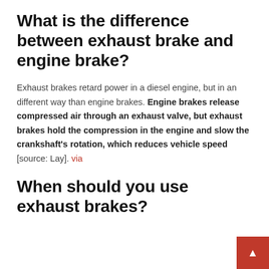What is the difference between exhaust brake and engine brake?
Exhaust brakes retard power in a diesel engine, but in an different way than engine brakes. Engine brakes release compressed air through an exhaust valve, but exhaust brakes hold the compression in the engine and slow the crankshaft’s rotation, which reduces vehicle speed [source: Lay]. via
When should you use exhaust brakes?